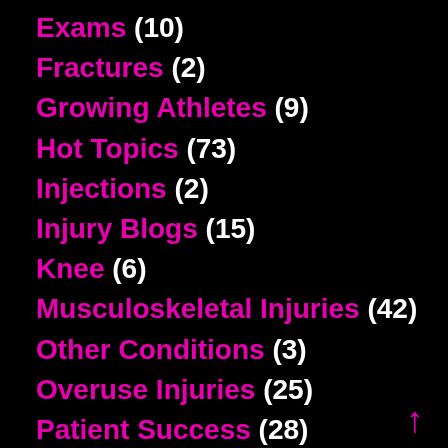Exams (10)
Fractures (2)
Growing Athletes (9)
Hot Topics (73)
Injections (2)
Injury Blogs (15)
Knee (6)
Musculoskeletal Injuries (42)
Other Conditions (3)
Overuse Injuries (25)
Patient Success (28)
Prevention (15)
Running (15)
School Accommodation (5)